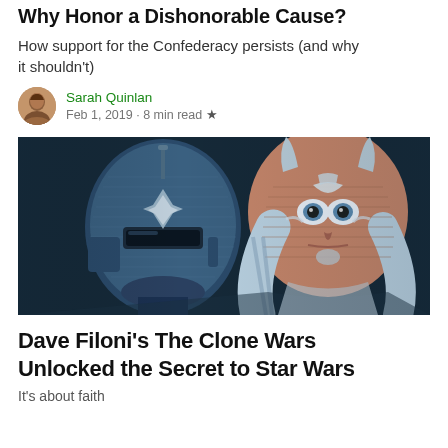Why Honor a Dishonorable Cause?
How support for the Confederacy persists (and why it shouldn't)
Sarah Quinlan · Feb 1, 2019 · 8 min read ★
[Figure (illustration): Illustrated digital artwork showing two Star Wars characters: a Mandalorian warrior in blue armor on the left and Ahsoka Tano on the right, rendered in a textured graphic novel style against a dark teal background.]
Dave Filoni's The Clone Wars Unlocked the Secret to Star Wars
It's about faith